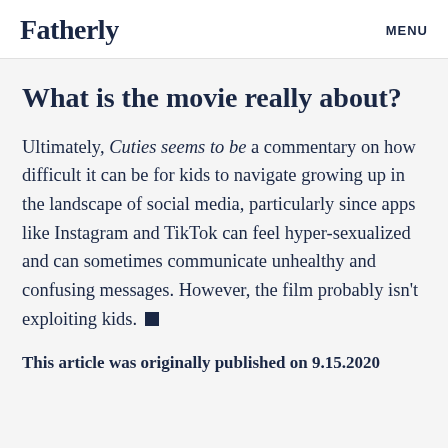Fatherly   MENU
What is the movie really about?
Ultimately, Cuties seems to be a commentary on how difficult it can be for kids to navigate growing up in the landscape of social media, particularly since apps like Instagram and TikTok can feel hyper-sexualized and can sometimes communicate unhealthy and confusing messages. However, the film probably isn't exploiting kids. ■
This article was originally published on 9.15.2020